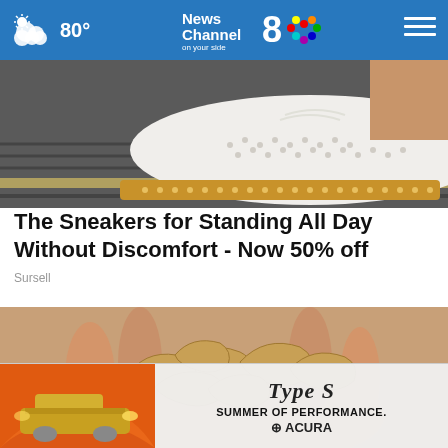80° News Channel 8 on your side
[Figure (photo): Close-up of a white perforated sneaker with tan/gold trim on a dark grate surface]
The Sneakers for Standing All Day Without Discomfort - Now 50% off
Sursell
[Figure (photo): A hand holding a handful of cashew nuts, close-up view]
[Figure (photo): Acura advertisement banner showing an Acura SUV in orange with text: Type S SUMMER OF PERFORMANCE. ACURA]